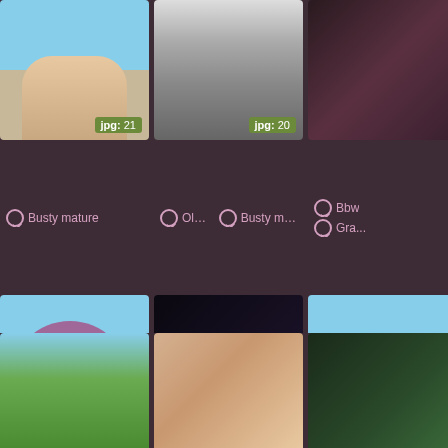[Figure (photo): Partial photo top left - cropped image with jpg:21 badge]
[Figure (photo): Partial photo top center - cropped image with jpg:20 badge]
[Figure (photo): Partial photo top right - cropped image]
Busty mature
Older , Busty mature
Bbw , Gra...
[Figure (photo): Granny beach photo - older woman in purple swimsuit at beach with jpg:30 badge]
[Figure (photo): Busty mature seated photo with jpg:20 badge]
[Figure (photo): Right column partial photo]
Granny beach , Granny boobs ,
Busty mature , Curvy
Gra... Mat...
[Figure (photo): Bottom left partial photo - outdoor scene]
[Figure (photo): Bottom center partial photo - woman portrait]
[Figure (photo): Bottom right partial photo]